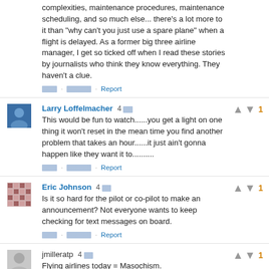complexities, maintenance procedures, maintenance scheduling, and so much else... there's a lot more to it than "why can't you just use a spare plane" when a flight is delayed. As a former big three airline manager, I get so ticked off when I read these stories by journalists who think they know everything. They haven't a clue.
Larry Loffelmacher 4 [time] — This would be fun to watch......you get a light on one thing it won't reset in the mean time you find another problem that takes an hour......it just ain't gonna happen like they want it to..........
Eric Johnson 4 [time] — Is it so hard for the pilot or co-pilot to make an announcement? Not everyone wants to keep checking for text messages on board.
jmilleratp 4 [time] — Flying airlines today = Masochism.
George Rafael 4 [time]